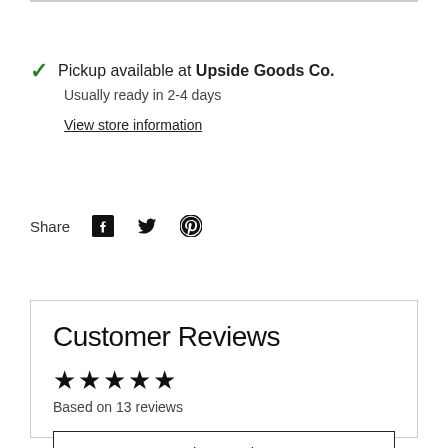Pickup available at Upside Goods Co. Usually ready in 2-4 days
View store information
Share
[Figure (other): Social media share icons: Facebook, Twitter, Pinterest]
Customer Reviews
[Figure (other): 5 star rating icons]
Based on 13 reviews
Write a review